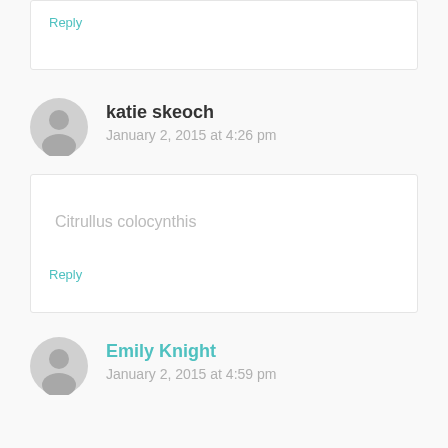Reply
katie skeoch
January 2, 2015 at 4:26 pm
Citrullus colocynthis
Reply
Emily Knight
January 2, 2015 at 4:59 pm